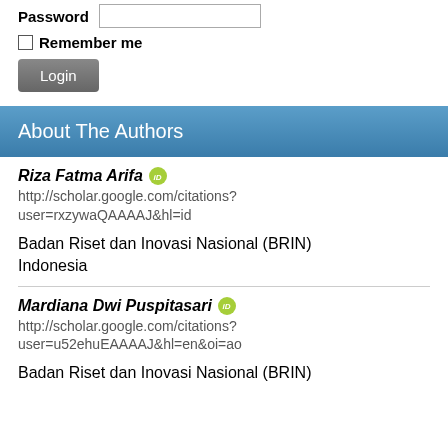Password [input field]
Remember me
Login
About The Authors
Riza Fatma Arifa
http://scholar.google.com/citations?user=rxzywaQAAAAJ&hl=id
Badan Riset dan Inovasi Nasional (BRIN) Indonesia
Mardiana Dwi Puspitasari
http://scholar.google.com/citations?user=u52ehuEAAAAJ&hl=en&oi=ao
Badan Riset dan Inovasi Nasional (BRIN) Indonesia